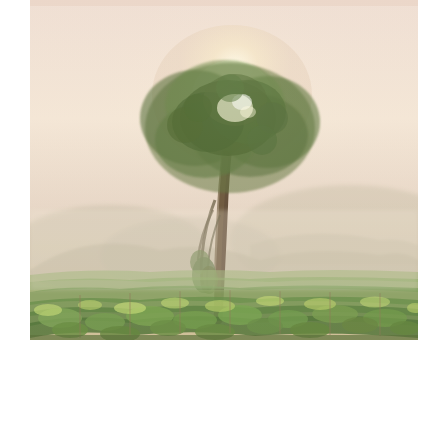[Figure (photo): A photograph of a vineyard landscape. A large solitary oak tree stands in the center with sun rays filtering through its canopy. Rolling hills are visible in the misty background. The foreground shows rows of lush green grapevines. The image has a soft, warm, slightly hazy quality with golden-green light.]